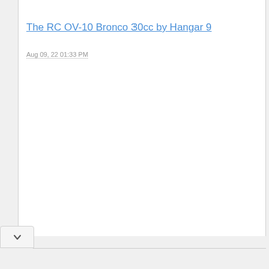The RC OV-10 Bronco 30cc by Hangar 9
Aug 09, 22 01:33 PM